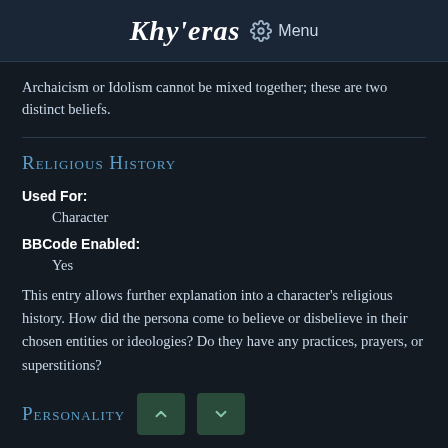Khy'eras ⚙ Menu
Archaicism or Idolism cannot be mixed together; these are two distinct beliefs.
Religious History
Used For:
Character
BBCode Enabled:
Yes
This entry allows further explanation into a character's religious history. How did the persona come to believe or disbelieve in their chosen entities or ideologies? Do they have any practices, prayers, or superstitions?
Personality